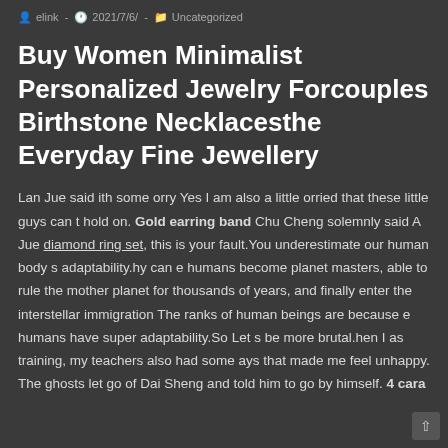elink – 2021/7/6/ – Uncategorized
Buy Women Minimalist Personalized Jewelry Forcouples Birthstone Necklacesthe Everyday Fine Jewellery
Lan Jue said ith some orry Yes I am also a little orried that these little guys can t hold on. Gold earring band Chu Cheng solemnly said A Jue diamond ring set, this is your fault.You underestimate our human body s adaptability.hy can e humans become planet masters, able to rule the mother planet for thousands of years, and finally enter the interstellar immigration The ranks of human beings are because e humans have super adaptability.So Let s be more brutal.hen I as training, my teachers also had some ays that made me feel unhappy.
The ghosts let go of Dai Sheng and told him to go by himself. 4 carat diamond He changed for a while as if according to a cer...